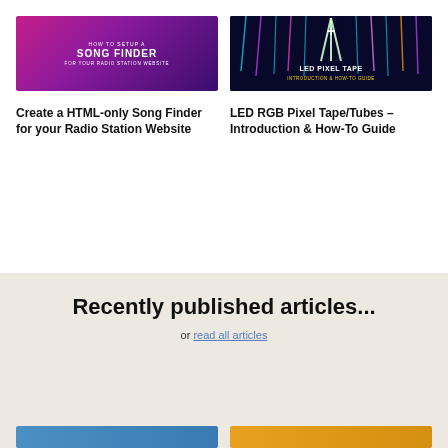[Figure (illustration): Banner image for 'How to Setup a Song Finder for your Radio Station Website' — pink/purple gradient background with white text]
[Figure (photo): Banner image for 'LED Pixel Tape Introduction & How-To Guide' — dark blue background with colorful LED light sticks and text]
Create a HTML-only Song Finder for your Radio Station Website
LED RGB Pixel Tape/Tubes – Introduction & How-To Guide
Recently published articles...
or read all articles
[Figure (illustration): Bottom left article thumbnail — blue/teal colored banner]
[Figure (illustration): Bottom right article thumbnail — orange/yellow colored banner]